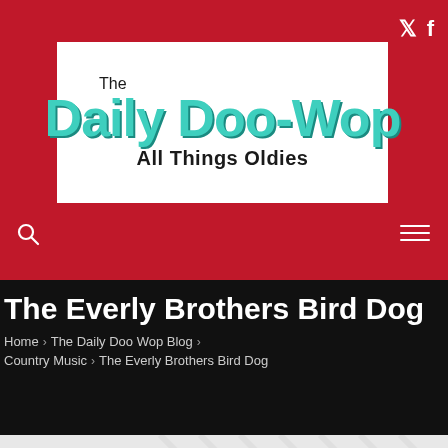[Figure (logo): The Daily Doo-Wop All Things Oldies logo on white background with red border]
The Everly Brothers Bird Dog
Home > The Daily Doo Wop Blog > Country Music > The Everly Brothers Bird Dog